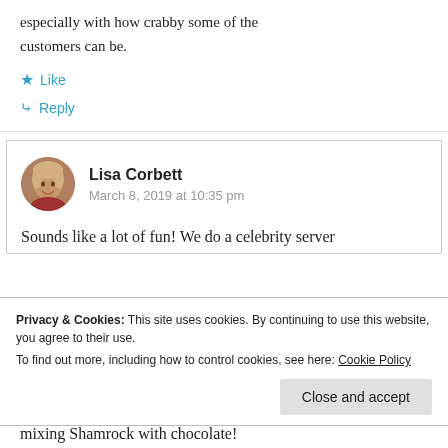especially with how crabby some of the customers can be.
Like
Reply
Lisa Corbett
March 8, 2019 at 10:35 pm
Sounds like a lot of fun! We do a celebrity server
Privacy & Cookies: This site uses cookies. By continuing to use this website, you agree to their use.
To find out more, including how to control cookies, see here: Cookie Policy
Close and accept
mixing Shamrock with chocolate!